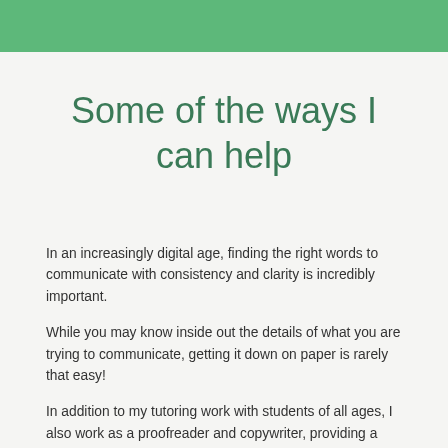Some of the ways I can help
In an increasingly digital age, finding the right words to communicate with consistency and clarity is incredibly important.
While you may know inside out the details of what you are trying to communicate, getting it down on paper is rarely that easy!
In addition to my tutoring work with students of all ages, I also work as a proofreader and copywriter, providing a transcribing, copywriting and proofreading